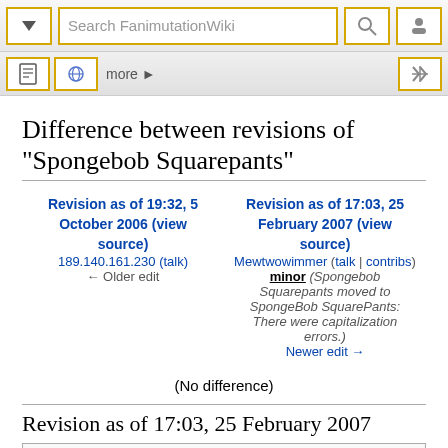Search FanimutationWiki
Difference between revisions of "Spongebob Squarepants"
Revision as of 19:32, 5 October 2006 (view source)
189.140.161.230 (talk)
← Older edit

Revision as of 17:03, 25 February 2007 (view source)
Mewtwowimmer (talk | contribs)
minor (Spongebob Squarepants moved to SpongeBob SquarePants: There were capitalization errors.)
Newer edit →
(No difference)
Revision as of 17:03, 25 February 2007
[Figure (screenshot): Partial screenshot of a FanimutationWiki page showing a two-tone image (teal/red) with white text 'They Save!']